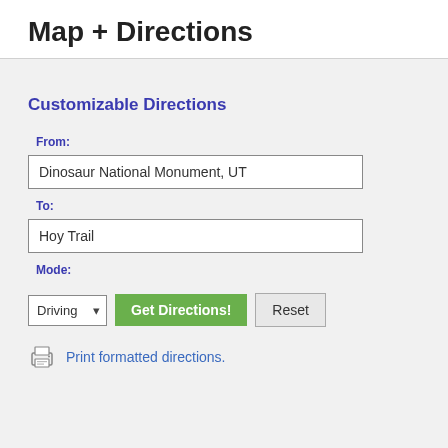Map + Directions
Customizable Directions
From:
Dinosaur National Monument, UT
To:
Hoy Trail
Mode:
Driving | Get Directions! | Reset
Print formatted directions.